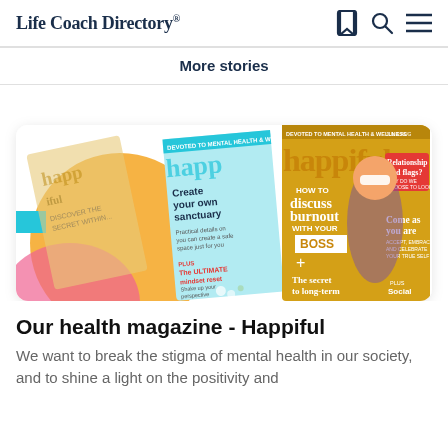Life Coach Directory®
More stories
[Figure (illustration): Three overlapping Happiful magazine covers displayed at angles. The front cover shows a woman with sunglasses and text: HOW TO discuss burnout WITH YOUR BOSS, The secret to long-term happiness, Come as you are, Relationship red flags? The middle cover shows: Create your own sanctuary, The ULTIMATE mindset reset. The back cover is partially visible with orange and pink tones and the Happiful logo.]
Our health magazine - Happiful
We want to break the stigma of mental health in our society, and to shine a light on the positivity and